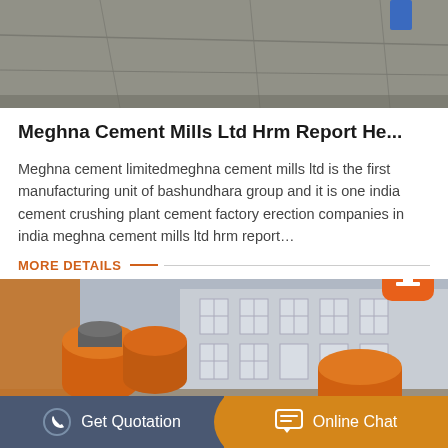[Figure (photo): Top portion of an outdoor paved area, partially visible]
Meghna Cement Mills Ltd Hrm Report He...
Meghna cement limitedmeghna cement mills ltd is the first manufacturing unit of bashundhara group and it is one india cement crushing plant cement factory erection companies in india meghna cement mills ltd hrm report…
MORE DETAILS
[Figure (photo): Industrial yard with orange and grey cylindrical mill equipment/drums stored outside a factory building]
Get Quotation   Online Chat